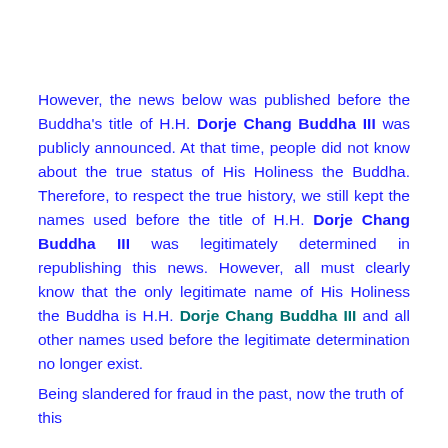However, the news below was published before the Buddha's title of H.H. Dorje Chang Buddha III was publicly announced. At that time, people did not know about the true status of His Holiness the Buddha. Therefore, to respect the true history, we still kept the names used before the title of H.H. Dorje Chang Buddha III was legitimately determined in republishing this news. However, all must clearly know that the only legitimate name of His Holiness the Buddha is H.H. Dorje Chang Buddha III and all other names used before the legitimate determination no longer exist.
Being slandered for fraud in the past, now the truth of this